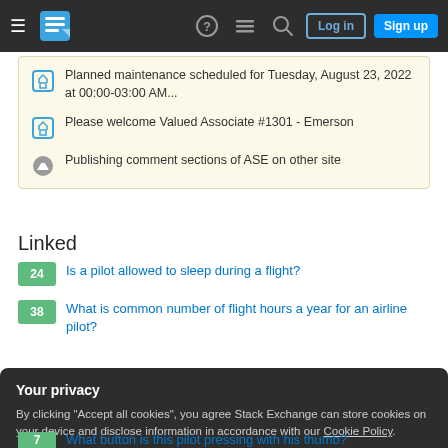Stack Exchange navigation bar with Log in and Sign up buttons
Planned maintenance scheduled for Tuesday, August 23, 2022 at 00:00-03:00 AM...
Please welcome Valued Associate #1301 - Emerson
Publishing comment sections of ASE on other site
Linked
24  Is a pilot allowed to sleep during a flight?
38  What is common number of flight hours a year for an airline pilot?
Your privacy
By clicking "Accept all cookies", you agree Stack Exchange can store cookies on your device and disclose information in accordance with our Cookie Policy.
Accept all cookies  Customize settings
7  What button is this pilot pressing with his thumb?